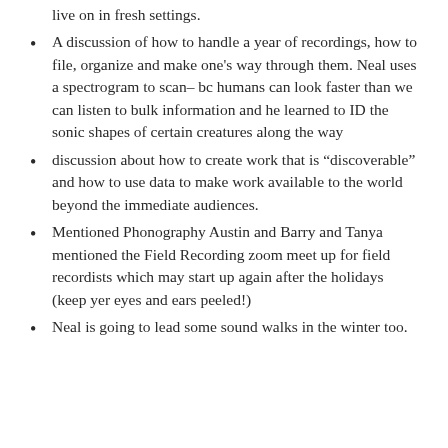live on in fresh settings.
A discussion of how to handle a year of recordings, how to file, organize and make one's way through them. Neal uses a spectrogram to scan– bc humans can look faster than we can listen to bulk information and he learned to ID the sonic shapes of certain creatures along the way
discussion about how to create work that is “discoverable” and how to use data to make work available to the world beyond the immediate audiences.
Mentioned Phonography Austin and Barry and Tanya mentioned the Field Recording zoom meet up for field recordists which may start up again after the holidays (keep yer eyes and ears peeled!)
Neal is going to lead some sound walks in the winter too.